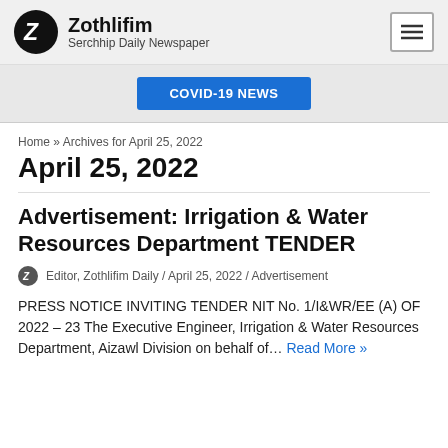Zothlifim — Serchhip Daily Newspaper
COVID-19 NEWS
Home » Archives for April 25, 2022
April 25, 2022
Advertisement: Irrigation & Water Resources Department TENDER
Editor, Zothlifim Daily / April 25, 2022 / Advertisement
PRESS NOTICE INVITING TENDER NIT No. 1/I&WR/EE (A) OF 2022 – 23 The Executive Engineer, Irrigation & Water Resources Department, Aizawl Division on behalf of… Read More »